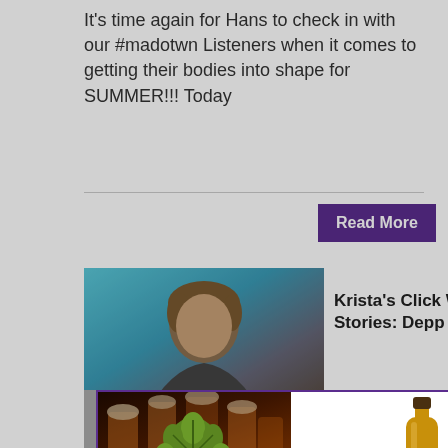It's time again for Hans to check in with our #madotwn Listeners when it comes to getting their bodies into shape for SUMMER!!! Today
Read More
[Figure (photo): Photo of a man with brown hair against a teal/blue background]
Krista's Click Worthy Stories: Depp Wins
[Figure (infographic): Hip Hops Beer of the Week popup advertisement featuring hops graphic on dark background left side and Früh beer bottle and crate on white background right side. Bottom text: FIND OUT MORE ABOUT THE BEER OF THE WEEK!]
[Figure (photo): Bottom photo strip showing people]
Squad: Shanna Powell